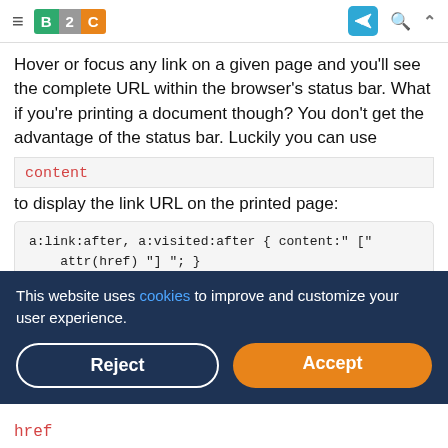B2C navigation bar
Hover or focus any link on a given page and you'll see the complete URL within the browser's status bar. What if you're printing a document though? You don't get the advantage of the status bar. Luckily you can use
content
to display the link URL on the printed page:
a:link:after, a:visited:after { content:" [" attr(href) "] "; }
This website uses cookies to improve and customize your user experience.
href